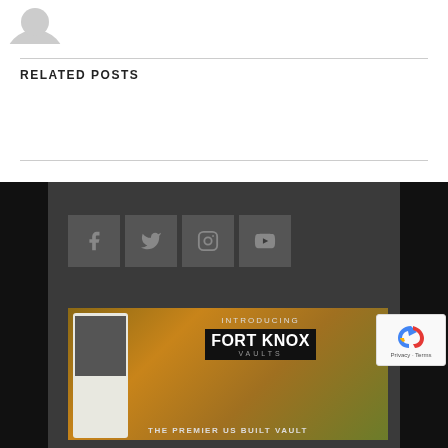[Figure (illustration): Partial avatar silhouette icon at top left, gray person outline]
RELATED POSTS
[Figure (illustration): Dark footer section with social media icon buttons (Facebook, Twitter, Instagram, YouTube) in gray square boxes, followed by a Fort Knox Vaults advertisement banner showing a gun safe with autumn background, text: INTRODUCING FORT KNOX VAULTS THE PREMIER US BUILT VAULT]
[Figure (logo): reCAPTCHA badge with Privacy and Terms links]